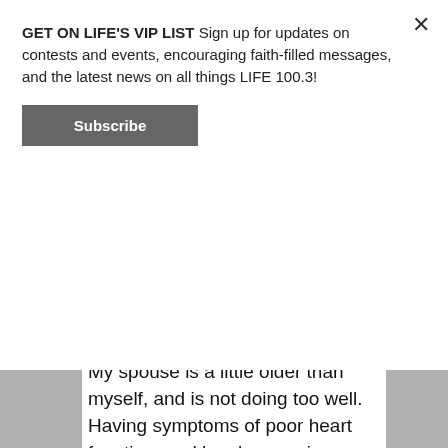GET ON LIFE'S VIP LIST Sign up for updates on contests and events, encouraging faith-filled messages, and the latest news on all things LIFE 100.3!
Subscribe
My spouse is a little older than myself, and is not doing too well. Having symptoms of poor heart function, and has been going on for a long time but it's far worse. He did suffer a heart attack or something very alike back in December. But I guess really what I'm asking is please pray for my husband's health. Please help guys!

I pray to the good Lord above, that he watch over my husband and care for...